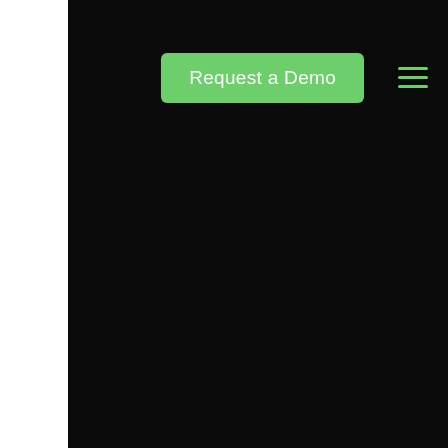[Figure (logo): Circular arrow logo icon in blue and green colors, partially visible at top-left of the dark navbar area]
o
[Figure (screenshot): Dark/black website page background with a green 'Request a Demo' button and a green hamburger menu icon in the top navigation area]